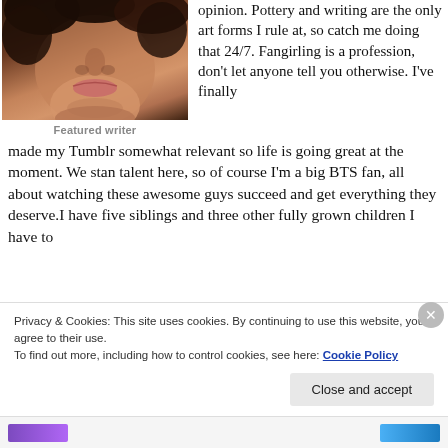[Figure (photo): Close-up profile photo of a person with curly hair, showing face from nose down to chin, dark background]
Featured writer
opinion. Pottery and writing are the only art forms I rule at, so catch me doing that 24/7. Fangirling is a profession, don't let anyone tell you otherwise. I've finally made my Tumblr somewhat relevant so life is going great at the moment. We stan talent here, so of course I'm a big BTS fan, all about watching these awesome guys succeed and get everything they deserve.I have five siblings and three other fully grown children I have to
Privacy & Cookies: This site uses cookies. By continuing to use this website, you agree to their use.
To find out more, including how to control cookies, see here: Cookie Policy
Close and accept